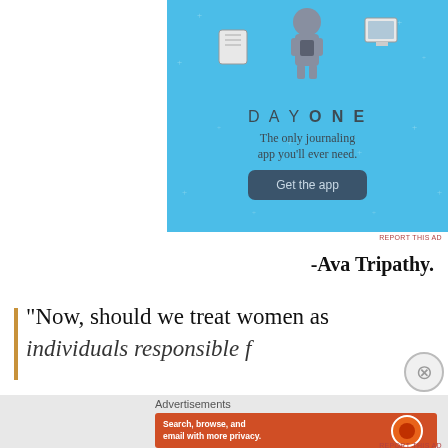[Figure (illustration): Day One journaling app advertisement with light blue background, illustrated characters holding devices, DAY ONE title, tagline 'The only journaling app you'll ever need.' and 'Get the app' button]
REPORT THIS AD
-Ava Tripathy.
“Now, should we treat women as
[Figure (illustration): DuckDuckGo advertisement with orange background: 'Search, browse, and email with more privacy. All in One Free App' with DuckDuckGo logo and phone mockup]
Advertisements
REPORT THIS AD